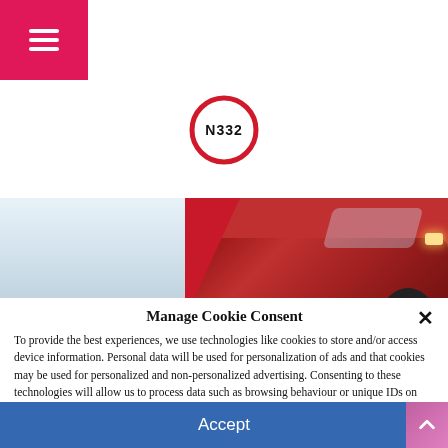≡ (hamburger menu)
[Figure (logo): N332 logo — circular red border with 'N332' text inside, resembling a road sign]
[Figure (photo): Banner image showing a red car on the right side with a diagonal red stripe element, set against a light blue/white background]
Manage Cookie Consent
To provide the best experiences, we use technologies like cookies to store and/or access device information. Personal data will be used for personalization of ads and that cookies may be used for personalized and non-personalized advertising. Consenting to these technologies will allow us to process data such as browsing behaviour or unique IDs on this site. Not consenting or withdrawing consent, may adversely affect certain features and functions.
Our partners will collect data and use cookies for ad personalization and measurement.
Accept